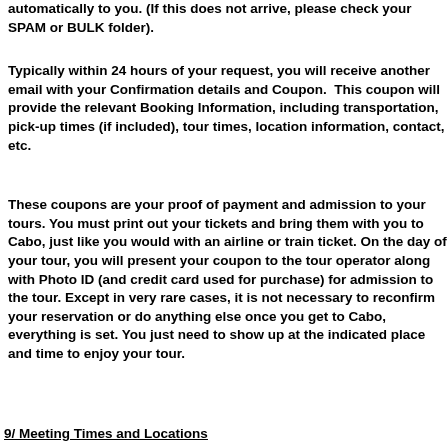automatically to you. (If this does not arrive, please check your SPAM or BULK folder).
Typically within 24 hours of your request, you will receive another email with your Confirmation details and Coupon. This coupon will provide the relevant Booking Information, including transportation, pick-up times (if included), tour times, location information, contact, etc.
These coupons are your proof of payment and admission to your tours. You must print out your tickets and bring them with you to Cabo, just like you would with an airline or train ticket. On the day of your tour, you will present your coupon to the tour operator along with Photo ID (and credit card used for purchase) for admission to the tour. Except in very rare cases, it is not necessary to reconfirm your reservation or do anything else once you get to Cabo, everything is set. You just need to show up at the indicated place and time to enjoy your tour.
9/ Meeting Times and Locations